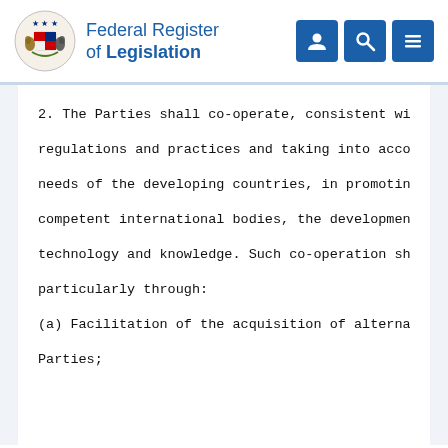Federal Register of Legislation
2. The Parties shall co-operate, consistent with regulations and practices and taking into account needs of the developing countries, in promoting, competent international bodies, the development a technology and knowledge. Such co-operation shal particularly through:
(a) Facilitation of the acquisition of alternativ
Parties;